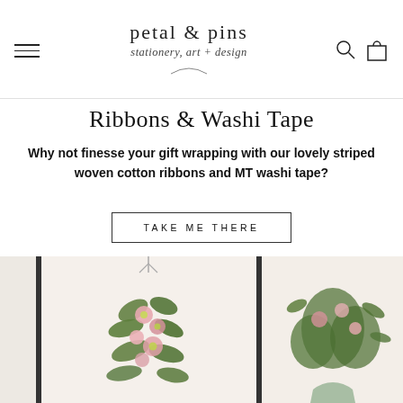petal & pins — stationery, art + design (navigation header with hamburger menu, search, and cart icons)
Ribbons & Washi Tape
Why not finesse your gift wrapping with our lovely striped woven cotton ribbons and MT washi tape?
TAKE ME THERE
[Figure (photo): Two framed artworks side by side against a light wall; the left frame shows a floral dress shape made from pink and green flowers and foliage hanging from a small hanger; the right frame shows a lush green and pink floral arrangement in a vase.]